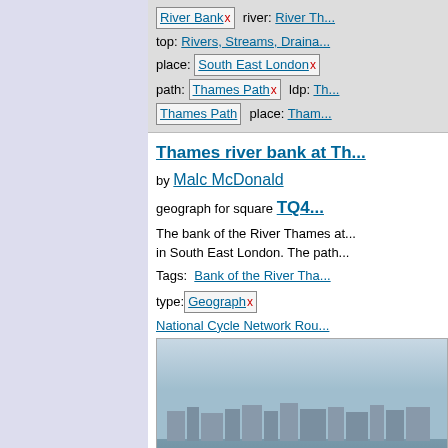River Bank x  river: River Th...
top: Rivers, Streams, Draina...
place: South East London x
path: Thames Path x  ldp: Th...
Thames Path  place: Tham...
Thames river bank at Th... by Malc McDonald geograph for square TQ4...
The bank of the River Thames at... in South East London. The path...
Tags:  Bank of the River Tha...
type: Geograph x
National Cycle Network Rou...
NCN1 x  subject: River Ban...
River Bank x  river: River Th...
top: Rivers, Streams, Draina...
place: South East London x
ldp: Thames Path x  long di...
path: Thames Path x  Tham...
[Figure (photo): Photo of Thames river bank showing waterfront with buildings in background and pathway]